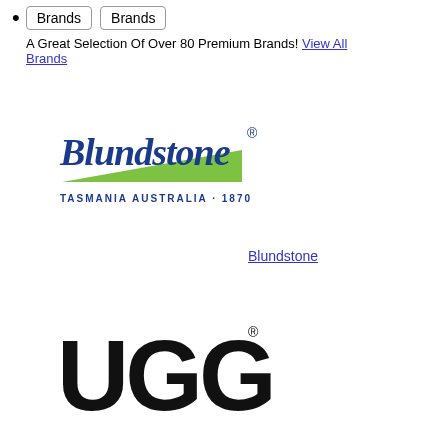Brands  Brands
A Great Selection Of Over 80 Premium Brands! View All Brands
[Figure (logo): Blundstone logo — blue script text 'Blundstone' with green swoosh and 'TASMANIA AUSTRALIA · 1870' text below]
Blundstone
[Figure (logo): UGG logo — bold black uppercase letters 'UGG' with registered trademark symbol]